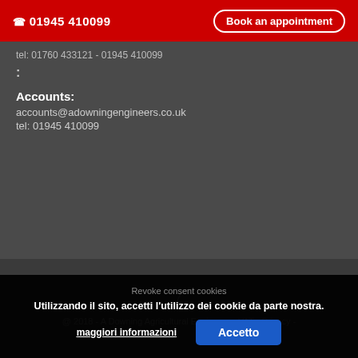☎ 01945 410099   Book an appointment
tel: 01760 433121 - 01945 410099
:
Accounts:
accounts@adowningengineers.co.uk
tel: 01945 410099
@ 2018 - A Downing Agricultural Engineers - VAT - Privacy -
Revoke consent cookies
Utilizzando il sito, accetti l'utilizzo dei cookie da parte nostra.
maggiori informazioni   Accetto